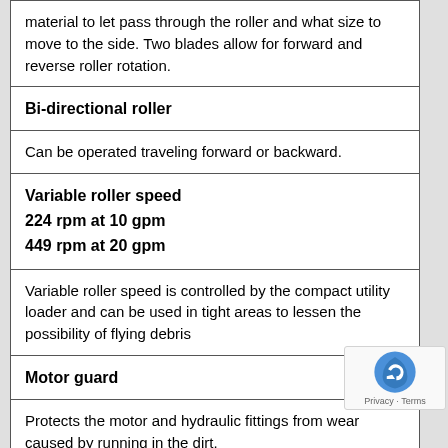| material to let pass through the roller and what size to move to the side. Two blades allow for forward and reverse roller rotation. |
| Bi-directional roller |
| Can be operated traveling forward or backward. |
| Variable roller speed
224 rpm at 10 gpm
449 rpm at 20 gpm |
| Variable roller speed is controlled by the compact utility loader and can be used in tight areas to lessen the possibility of flying debris |
| Motor guard |
| Protects the motor and hydraulic fittings from wear caused by running in the dirt. |
| End bearing cover |